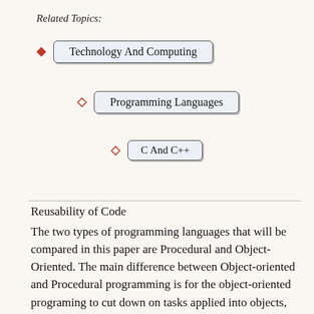Related Topics:
Technology And Computing
Programming Languages
C And C++
Reusability of Code
The two types of programming languages that will be compared in this paper are Procedural and Object-Oriented. The main difference between Object-oriented and Procedural programming is for the object-oriented programing to cut down on tasks applied into objects, which encapsulate the methods in the data; and for the programming that is